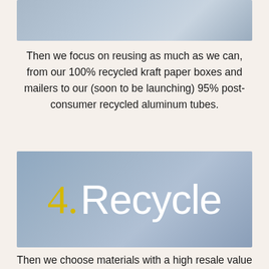[Figure (photo): Blurred light blue-grey background image, partially visible at top of page]
Then we focus on reusing as much as we can, from our 100% recycled kraft paper boxes and mailers to our (soon to be launching) 95% post-consumer recycled aluminum tubes.
[Figure (photo): Blue-grey blurred background image with large text overlay reading '4. Recycle' where '4.' is in yellow and 'Recycle' is in white]
Then we choose materials with a high resale value and higher likelihood to be recycled. Our pure